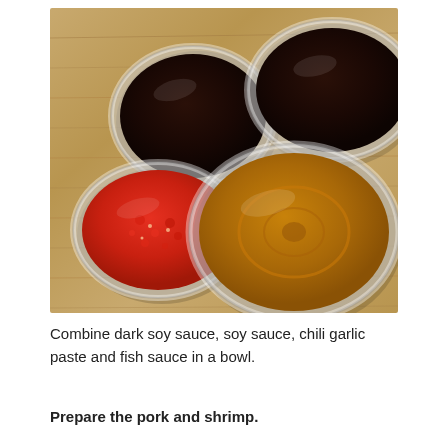[Figure (photo): Four glass bowls on a wooden cutting board viewed from above. Top-left bowl contains dark soy sauce, top-right bowl contains dark soy sauce, bottom-left bowl contains red chili garlic paste, bottom-center/right bowl contains lighter amber fish sauce.]
Combine dark soy sauce, soy sauce, chili garlic paste and fish sauce in a bowl.
Prepare the pork and shrimp.